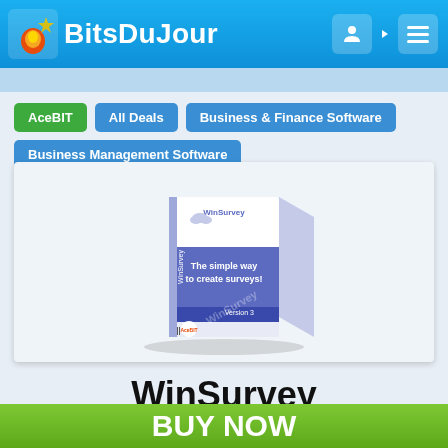BitsDuJour
AceBIT
All Deals
Business & Finance Software
Business Management Software
[Figure (photo): WinSurvey software box — blue and white packaging showing logo 'WinSurvey' and tagline 'The simple way to create surveys!' with Version 3 label]
WinSurvey
$133.73
BUY NOW